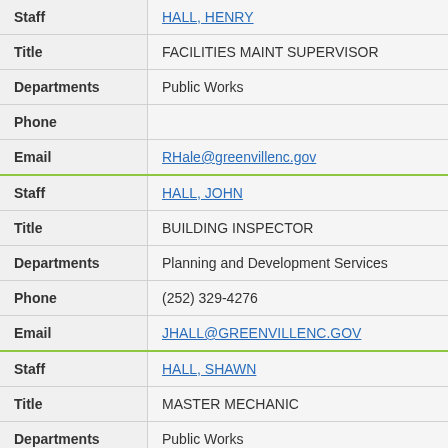| Field | Value |
| --- | --- |
| Staff | HALL, HENRY (link, truncated at top) |
| Title | FACILITIES MAINT SUPERVISOR |
| Departments | Public Works |
| Phone |  |
| Email | RHale@greenvillenc.gov |
| Staff | HALL, JOHN |
| Title | BUILDING INSPECTOR |
| Departments | Planning and Development Services |
| Phone | (252) 329-4276 |
| Email | JHALL@GREENVILLENC.GOV |
| Staff | HALL, SHAWN |
| Title | MASTER MECHANIC |
| Departments | Public Works |
| Phone |  |
| Email | SHALL@GREENVILLENC.GOV |